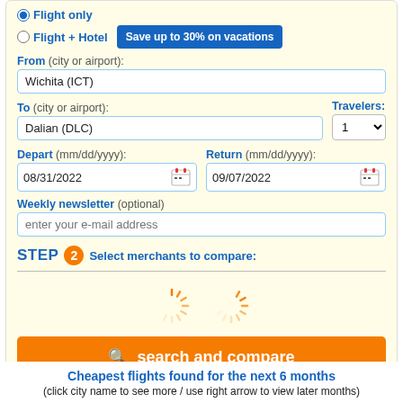Flight only (selected radio)
Flight + Hotel  Save up to 30% on vacations
From (city or airport):
Wichita (ICT)
To (city or airport):  Travelers:
Dalian (DLC)  1
Depart (mm/dd/yyyy):  Return (mm/dd/yyyy):
08/31/2022  09/07/2022
Weekly newsletter (optional)
enter your e-mail address
STEP 2 Select merchants to compare:
search and compare
Cheapest flights found for the next 6 months
(click city name to see more / use right arrow to view later months)